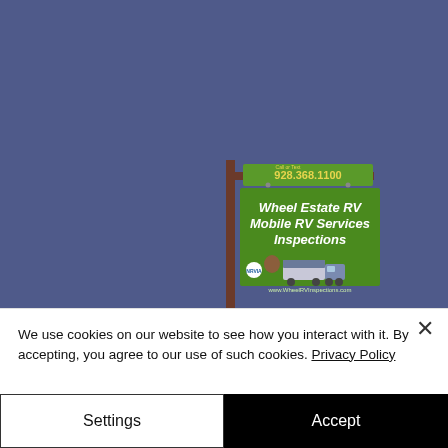[Figure (logo): Wheel Estate RV Mobile RV Services Inspections sign logo on blue background. A green hanging sign board with brown post showing phone number 928.368.1100, text 'Wheel Estate RV Mobile RV Services Inspections', and an illustration of an RV with a person, plus website URL.]
We use cookies on our website to see how you interact with it. By accepting, you agree to our use of such cookies. Privacy Policy
Settings
Accept